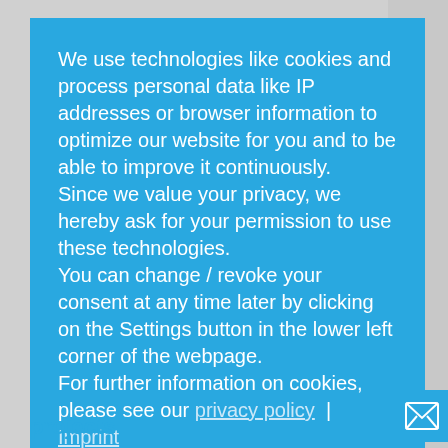We use technologies like cookies and process personal data like IP addresses or browser information to optimize our website for you and to be able to improve it continuously.
Since we value your privacy, we hereby ask for your permission to use these technologies.
You can change / revoke your consent at any time later by clicking on the Settings button in the lower left corner of the webpage.
For further information on cookies, please see our privacy policy | Imprint
Refuse cookies
Allow cookies
projects